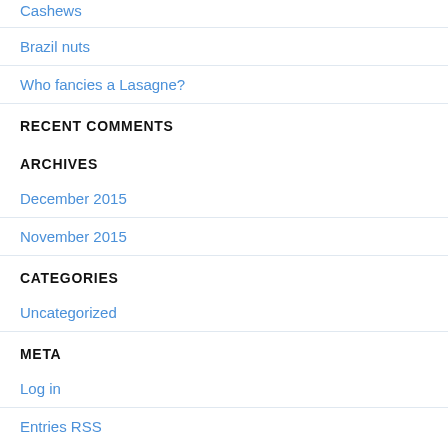Cashews
Brazil nuts
Who fancies a Lasagne?
RECENT COMMENTS
ARCHIVES
December 2015
November 2015
CATEGORIES
Uncategorized
META
Log in
Entries RSS